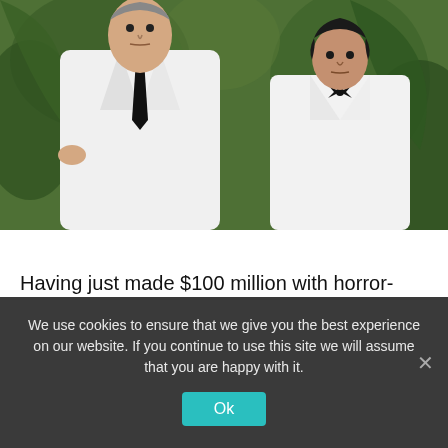[Figure (photo): Two men standing in white suits against a green tropical background. The taller man on the left wears a white suit with a black tie and has grey hair. The shorter man on the right wears a white tuxedo with a black bow tie and has dark hair.]
Having just made $100 million with horror-thriller Truth Or Dare, Blumhouse is re-teaming with director Jeff Wadlow
We use cookies to ensure that we give you the best experience on our website. If you continue to use this site we will assume that you are happy with it.